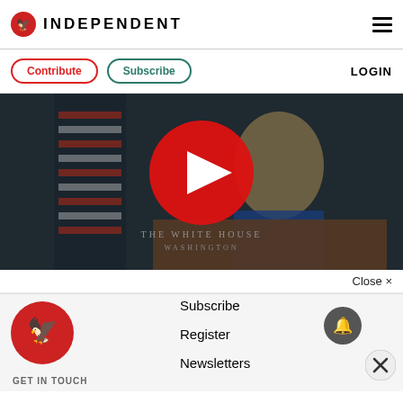INDEPENDENT
Contribute | Subscribe | LOGIN
[Figure (screenshot): Video player showing a White House press briefing with a blonde woman at a podium labeled 'THE WHITE HOUSE WASHINGTON'. A large red play button is overlaid in the center.]
Close ×
[Figure (logo): Independent newspaper red circular logo with eagle]
Subscribe
Register
Newsletters
GET IN TOUCH